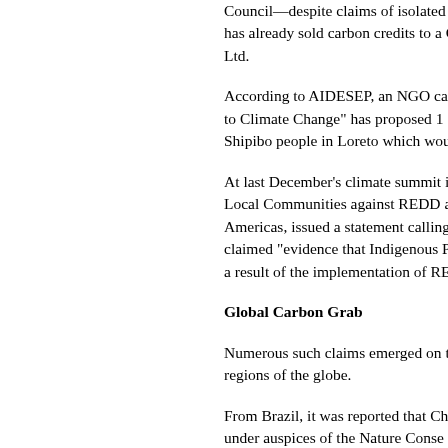Council—despite claims of isolated pe... has already sold carbon credits to a C... Ltd.
According to AIDESEP, an NGO called to Climate Change" has proposed 1... Shipibo people in Loreto which would e...
At last December's climate summit in L... Local Communities against REDD a... Americas, issued a statement calling fo... claimed "evidence that Indigenous Peo... a result of the implementation of REDD...
Global Carbon Grab
Numerous such claims emerged on the regions of the globe.
From Brazil, it was reported that Che... under auspices of the Nature Conse... Action Project in the ancestral territo... policed by uniformed armed guards d... accused of intimidating local commun... enter forest land in the project area.
In Bolivia, BP and American Electric Po... project at Noel Kempff Mercado Natio...